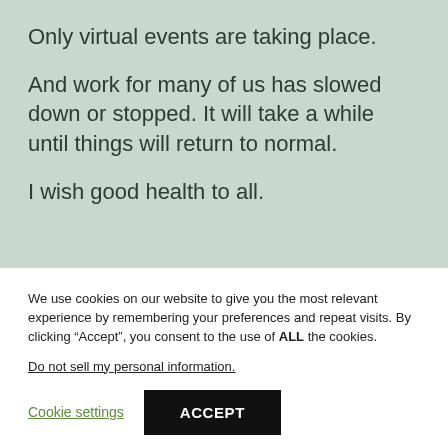Only virtual events are taking place.
And work for many of us has slowed down or stopped. It will take a while until things will return to normal.
I wish good health to all.
We use cookies on our website to give you the most relevant experience by remembering your preferences and repeat visits. By clicking “Accept”, you consent to the use of ALL the cookies.
Do not sell my personal information.
Cookie settings
ACCEPT